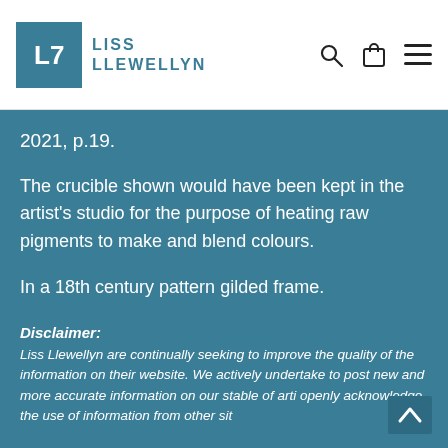[Figure (logo): Liss Llewellyn logo with teal square containing 'L7' symbol and teal text 'LISS LLEWELLYN' beside it, with search, bag, and hamburger menu icons on the right]
2021, p.19.
The crucible shown would have been kept in the artist's studio for the purpose of heating raw pigments to make and blend colours.
In a 18th century pattern gilded frame.
Disclaimer:
Liss Llewellyn are continually seeking to improve the quality of the information on their website. We actively undertake to post new and more accurate information on our stable of arti openly acknowledge the use of information from other sit